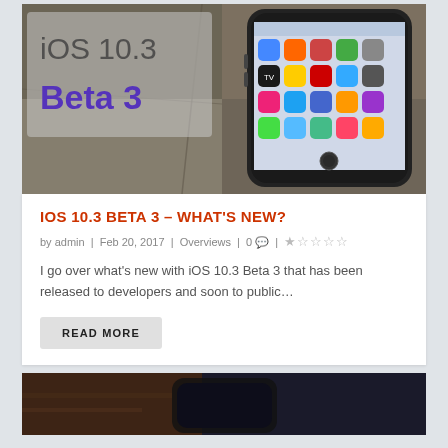[Figure (photo): iPhone lying on concrete/stone ground with iOS 10.3 Beta 3 overlay text on the left side. The phone screen shows various app icons.]
IOS 10.3 BETA 3 – WHAT'S NEW?
by admin | Feb 20, 2017 | Overviews | 0 💬 | ★☆☆☆☆
I go over what's new with iOS 10.3 Beta 3 that has been released to developers and soon to public…
READ MORE
[Figure (photo): Partial view of a dark smartphone on a brown/rustic surface — bottom portion of another article's hero image.]